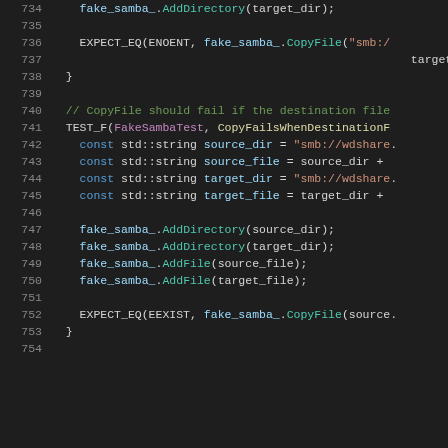[Figure (screenshot): C++ source code snippet showing lines 734-754 with syntax highlighting on dark background. Code includes fake_samba_ method calls, EXPECT_EQ assertions, comments, and a TEST_F function definition.]